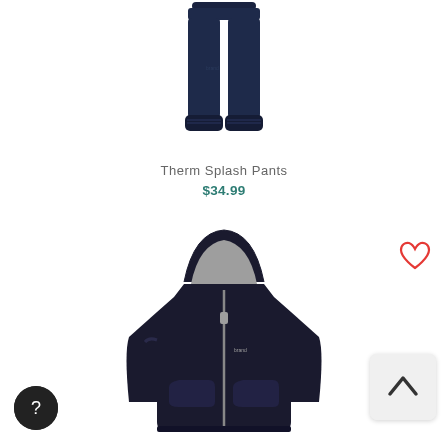[Figure (photo): Dark navy blue children's splash pants / rain pants shown hanging, with elastic cuffs at the bottom]
Therm Splash Pants
$34.99
[Figure (photo): Black children's softshell hoodie jacket with grey fleece lining visible in hood, zipper front, small brand logo on chest]
[Figure (illustration): Red heart outline icon (favourite/wishlist button)]
[Figure (illustration): Back to top arrow button (chevron up icon in light grey rounded square)]
[Figure (illustration): Black circular help/chat button with question mark icon]